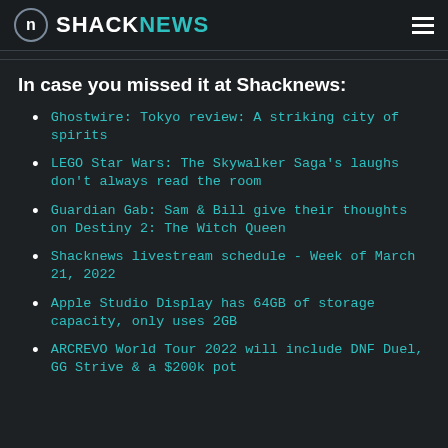SHACKNEWS
In case you missed it at Shacknews:
Ghostwire: Tokyo review: A striking city of spirits
LEGO Star Wars: The Skywalker Saga's laughs don't always read the room
Guardian Gab: Sam & Bill give their thoughts on Destiny 2: The Witch Queen
Shacknews livestream schedule - Week of March 21, 2022
Apple Studio Display has 64GB of storage capacity, only uses 2GB
ARCREVO World Tour 2022 will include DNF Duel, GG Strive & a $200k pot